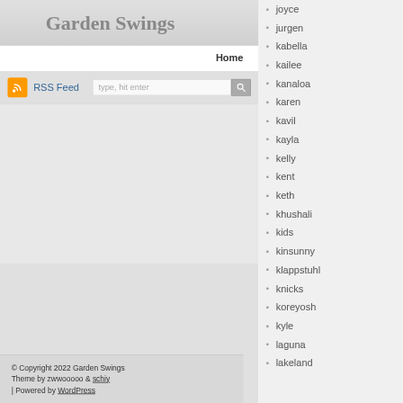Garden Swings
Home
RSS Feed  type, hit enter
Log in
© Copyright 2022 Garden Swings
Theme by zwwooooo & schiy
| Powered by WordPress
joyce
jurgen
kabella
kailee
kanaloa
karen
kavil
kayla
kelly
kent
keth
khushali
kids
kinsunny
klappstuhl
knicks
koreyosh
kyle
laguna
lakeland